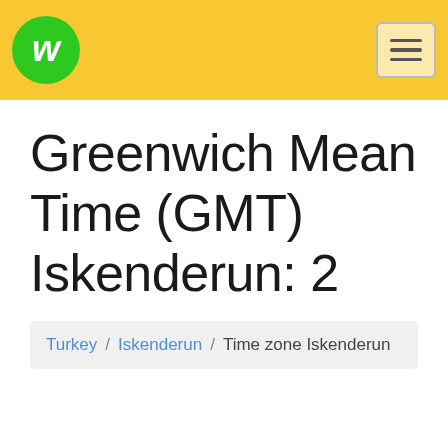[Figure (logo): Yellow header bar with green circular W logo on the left and hamburger menu icon on the right]
Greenwich Mean Time (GMT) Iskenderun: 2
Turkey / Iskenderun / Time zone Iskenderun